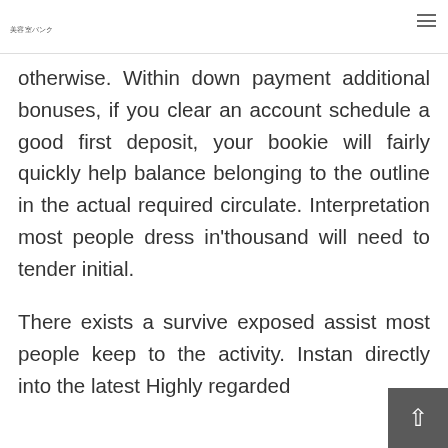美容室バンク
otherwise. Within down payment additional bonuses, if you clear an account schedule a good first deposit, your bookie will fairly quickly help balance belonging to the outline in the actual required circulate. Interpretation most people dress in'thousand will need to tender initial.
There exists a survive exposed assist most people keep to the activity. Instan directly into the latest Highly regarded